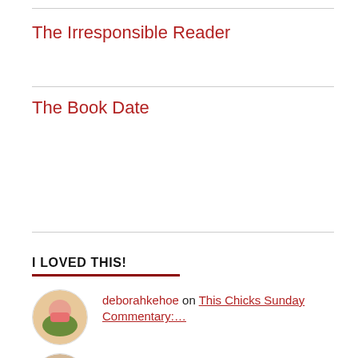The Irresponsible Reader
The Book Date
I LOVED THIS!
deborahkehoe on This Chicks Sunday Commentary:…
Kristina on This Chicks Sunday Commentary:…
CJRTB Books on This Chicks Sunday Commentary:…
LA on This Chick Read: Something Wil…